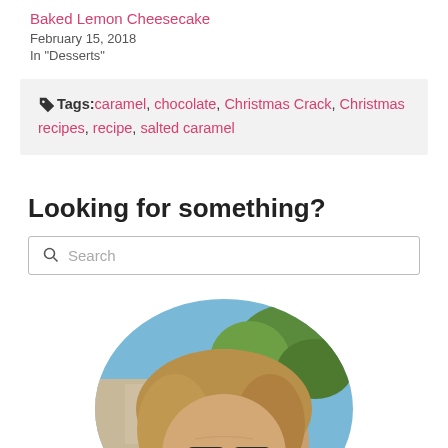Baked Lemon Cheesecake
February 15, 2018
In "Desserts"
Tags: caramel, chocolate, Christmas Crack, Christmas recipes, recipe, salted caramel
Looking for something?
Search
[Figure (photo): Circular cropped portrait photo of a woman with blonde hair and sunglasses, outdoors with trees and blue sky in background]